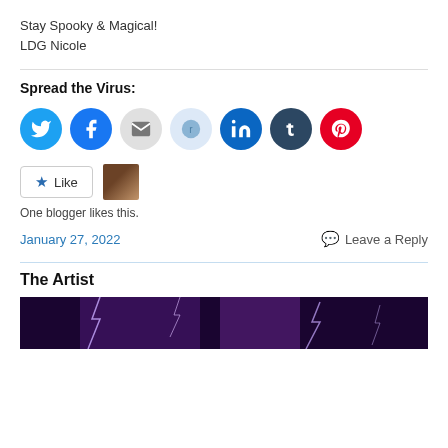Stay Spooky & Magical!
LDG Nicole
Spread the Virus:
[Figure (infographic): Row of social media sharing icon buttons: Twitter (blue), Facebook (blue), Email (gray), Reddit (light blue), LinkedIn (dark blue), Tumblr (dark navy), Pinterest (red)]
[Figure (infographic): Like button with star icon and a blogger avatar thumbnail next to it]
One blogger likes this.
January 27, 2022
Leave a Reply
The Artist
[Figure (photo): Dark photo with purple lightning bolts, partial image at bottom of page]